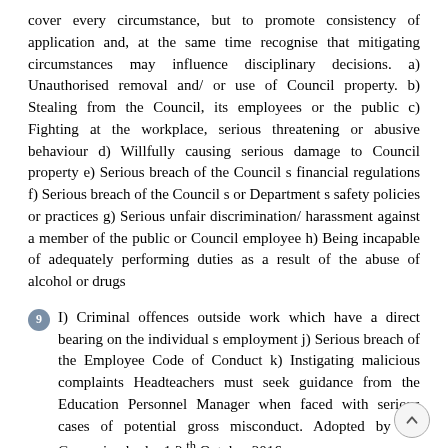cover every circumstance, but to promote consistency of application and, at the same time recognise that mitigating circumstances may influence disciplinary decisions. a) Unauthorised removal and/ or use of Council property. b) Stealing from the Council, its employees or the public c) Fighting at the workplace, serious threatening or abusive behaviour d) Willfully causing serious damage to Council property e) Serious breach of the Council s financial regulations f) Serious breach of the Council s or Department s safety policies or practices g) Serious unfair discrimination/ harassment against a member of the public or Council employee h) Being incapable of adequately performing duties as a result of the abuse of alcohol or drugs
9 I) Criminal offences outside work which have a direct bearing on the individual s employment j) Serious breach of the Employee Code of Conduct k) Instigating malicious complaints Headteachers must seek guidance from the Education Personnel Manager when faced with serious cases of potential gross misconduct. Adopted by the Governing body: 12 th October 2016